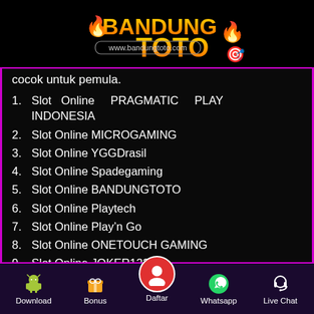[Figure (logo): BANDUNGTOTO logo with flame and wheel emoji, website www.bandungtoto.com]
cocok untuk pemula.
1. Slot Online PRAGMATIC PLAY INDONESIA
2. Slot Online MICROGAMING
3. Slot Online YGGDrasil
4. Slot Online Spadegaming
5. Slot Online BANDUNGTOTO
6. Slot Online Playtech
7. Slot Online Play'n Go
8. Slot Online ONETOUCH GAMING
9. Slot Online JOKER123
Download | Bonus | Daftar | Whatsapp | Live Chat